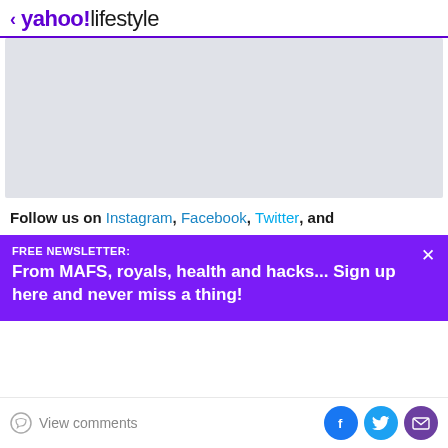< yahoo!lifestyle
[Figure (other): Gray placeholder image rectangle]
Follow us on Instagram, Facebook, Twitter, and
FREE NEWSLETTER:
From MAFS, royals, health and hacks... Sign up here and never miss a thing!
View comments | Facebook share | Twitter share | Email share